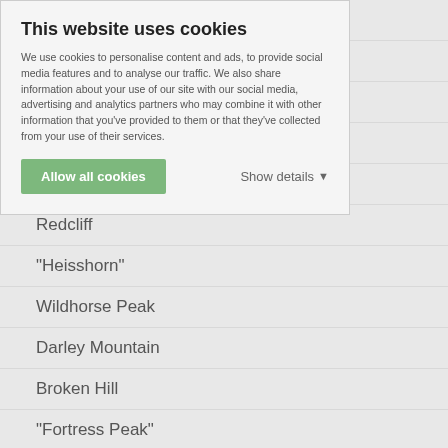Uncompahgre Peak
Wetterhorn Peak (Colorado)
Silver Mountain A
Unnamed 13681
Coxcomb Peak
Redcliff
"Heisshorn"
Wildhorse Peak
Darley Mountain
Broken Hill
"Fortress Peak"
Sheep Mountain C
Unnamed 13100 B
Blackwall Mountain
This website uses cookies
We use cookies to personalise content and ads, to provide social media features and to analyse our traffic. We also share information about your use of our site with our social media, advertising and analytics partners who may combine it with other information that you've provided to them or that they've collected from your use of their services.
Allow all cookies   Show details